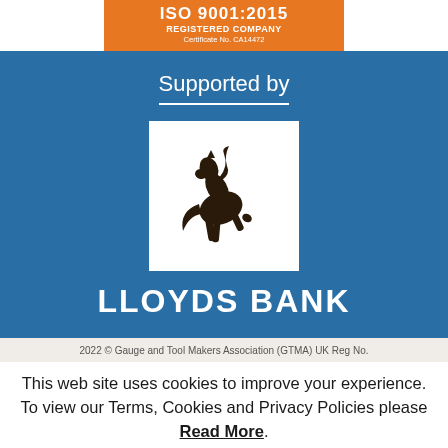[Figure (logo): ISO 9001:2015 Registered Company certificate badge, orange background, Certificate No. CA14472]
Supported by
[Figure (logo): Lloyds Bank logo: black rearing horse on white square background, with LLOYDS BANK text below in white on blue]
2022 © Gauge and Tool Makers Association (GTMA) UK Reg No.
This web site uses cookies to improve your experience. To view our Terms, Cookies and Privacy Policies please Read More.
Accept